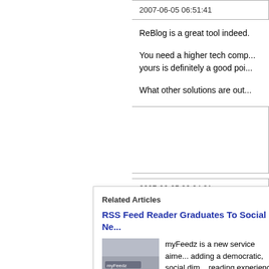2007-06-05 06:51:41
ReBlog is a great tool indeed.
You need a higher tech comp... yours is definitely a good poi...
What other solutions are out...
2007-06-05 06:04:21
Related Articles
RSS Feed Reader Graduates To Social Ne...
myFeedz is a new service aime... adding a democratic, social dim... reading experience. Here we h... to roll together the
Read more...